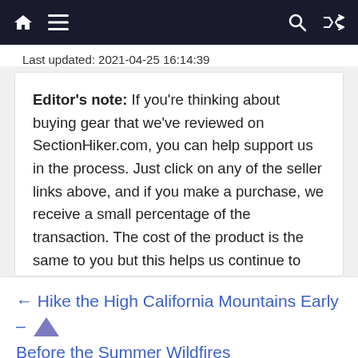🏠 ☰  🔍 ⇌
Last updated: 2021-04-25 16:14:39
Editor's note: If you're thinking about buying gear that we've reviewed on SectionHiker.com, you can help support us in the process. Just click on any of the seller links above, and if you make a purchase, we receive a small percentage of the transaction. The cost of the product is the same to you but this helps us continue to test and write unsponsored and independent gear reviews, beginner FAQs, and free hiking guides. Thanks and we appreciate your support!
← Hike the High California Mountains Early – Before the Summer Wildfires